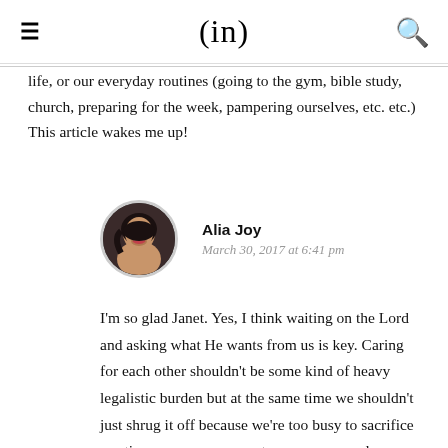(in)
life, or our everyday routines (going to the gym, bible study, church, preparing for the week, pampering ourselves, etc. etc.) This article wakes me up!
[Figure (photo): Circular cropped portrait photo of Alia Joy, a woman with dark hair and red lipstick]
Alia Joy
March 30, 2017 at 6:41 pm
I'm so glad Janet. Yes, I think waiting on the Lord and asking what He wants from us is key. Caring for each other shouldn't be some kind of heavy legalistic burden but at the same time we shouldn't just shrug it off because we're too busy to sacrifice our time, money, energy etc. on someone else.